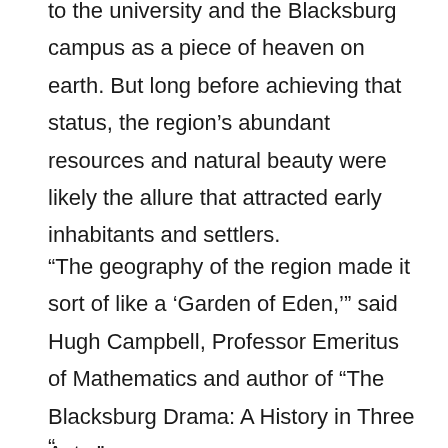to the university and the Blacksburg campus as a piece of heaven on earth. But long before achieving that status, the region's abundant resources and natural beauty were likely the allure that attracted early inhabitants and settlers.
“The geography of the region made it sort of like a ‘Garden of Eden,’” said Hugh Campbell, Professor Emeritus of Mathematics and author of “The Blacksburg Drama: A History in Three Acts.”
“...